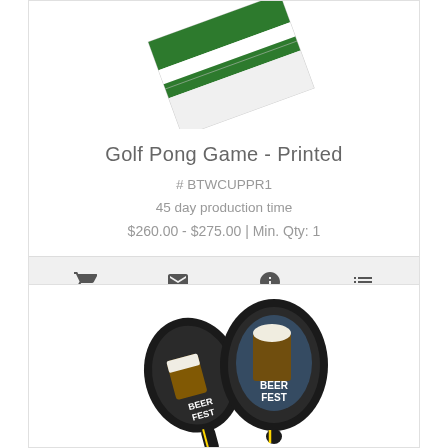[Figure (photo): Partial view of Golf Pong Game - Printed product, showing a folded golf-themed item with green and white stripes]
Golf Pong Game - Printed
# BTWCUPPR1
45 day production time
$260.00 - $275.00 | Min. Qty: 1
[Figure (infographic): Action bar with four icons: shopping cart, envelope, info circle, and list/menu icon]
[Figure (photo): Two pickleball paddles with Beer Fest branding and beer mug graphic printed on them]